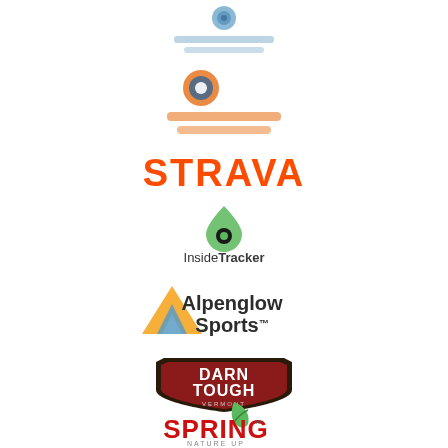[Figure (logo): Blurred blue circular logo with text below - possibly a running/sports organization]
[Figure (logo): Orange and blue circular logo with text - Runners Race style brand]
[Figure (logo): Strava logo in orange bold lettering]
[Figure (logo): InsideTracker logo with green teardrop/eye icon]
[Figure (logo): Alpenglow Sports logo with yellow/blue mountain chevron icon]
[Figure (logo): Darn Tough Vermont logo - dark shield badge design]
[Figure (logo): Spring Nature Up logo with green leaf and red bold text]